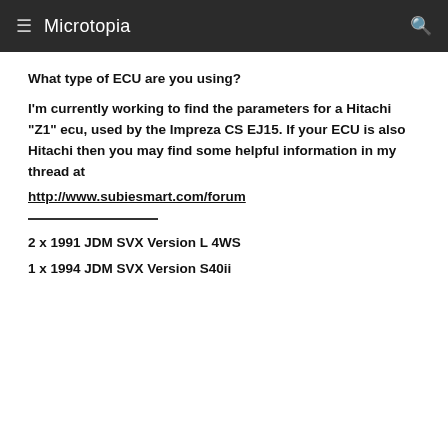≡ Microtopia  🔍
What type of ECU are you using?
I'm currently working to find the parameters for a Hitachi "Z1" ecu, used by the Impreza CS EJ15. If your ECU is also Hitachi then you may find some helpful information in my thread at http://www.subiesmart.com/forum
2 x 1991 JDM SVX Version L 4WS
1 x 1994 JDM SVX Version S40ii